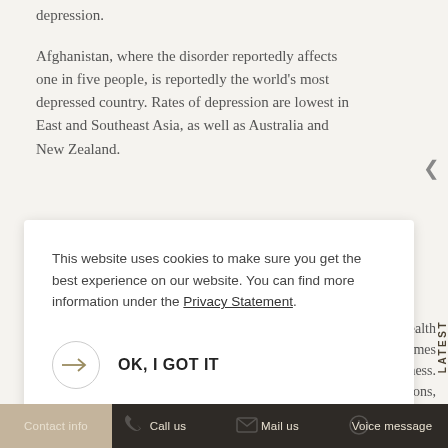depression.
Afghanistan, where the disorder reportedly affects one in five people, is reportedly the world's most depressed country. Rates of depression are lowest in East and Southeast Asia, as well as Australia and New Zealand.
This website uses cookies to make sure you get the best experience on our website. You can find more information under the Privacy Statement.
OK, I GOT IT
ntal health
is 20 times ness.
e nations, up to 30 percent of all suicides occur as a result of substance abuse or a mental health disorder
LATEST
Contact info | Call us | Mail us | Voice message